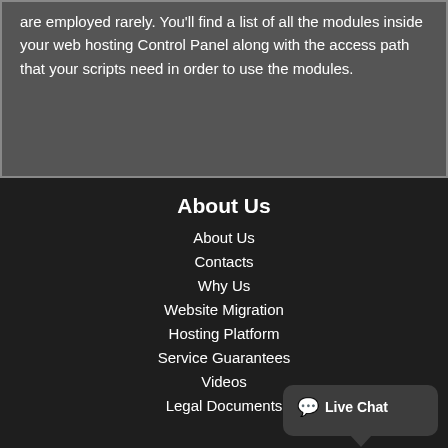are employed rarely. You'll find a list of all the modules inside your web hosting Control Panel along with the access path that your scripts need in order to use the modules.
About Us
About Us
Contacts
Why Us
Website Migration
Hosting Platform
Service Guarantees
Videos
Legal Documents
Our site will install cookies. By continuing to browse the site you are giving your permission to our use of cookies. Find out more here.